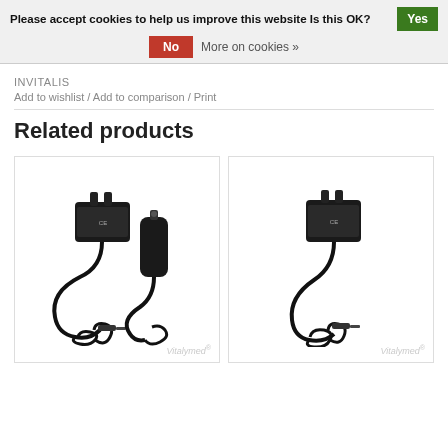Please accept cookies to help us improve this website Is this OK? Yes
No  More on cookies »
INVITALIS
Add to wishlist / Add to comparison / Print
Related products
[Figure (photo): Black power adapter with wall plug and car charger adapter with coiled cables]
[Figure (photo): Black power adapter with wall plug and coiled cable]